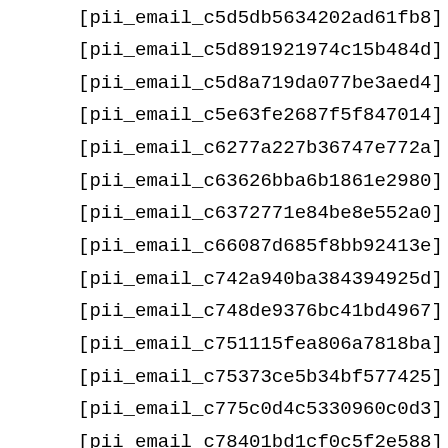[pii_email_c5d5db5634202ad61fb8]
[pii_email_c5d891921974c15b484d]
[pii_email_c5d8a719da077be3aed4]
[pii_email_c5e63fe2687f5f847014]
[pii_email_c6277a227b36747e772a]
[pii_email_c63626bba6b1861e2980]
[pii_email_c6372771e84be8e552a0]
[pii_email_c66087d685f8bb92413e]
[pii_email_c742a940ba384394925d]
[pii_email_c748de9376bc41bd4967]
[pii_email_c751115fea806a7818ba]
[pii_email_c75373ce5b34bf577425]
[pii_email_c775c0d4c5330960c0d3]
[pii_email_c78401bd1cf0c5f2e588]
[pii_email_c79c59b8caf90b4b871d]
[pii_email_c7e98d1b06e1456b9308]
[pii_email_c88264335f3ec4dede97]
[pii_email_c895bc945eac62ac76e0]
[pii_email_c8bf298f2cc1c5cc05c6]